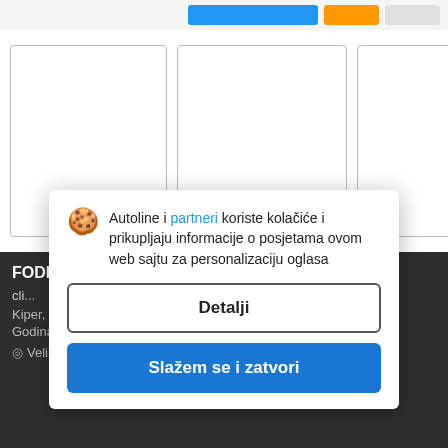[Figure (screenshot): Top navigation bar with blue and orange buttons on the right side]
[Figure (photo): Three white/empty image thumbnail placeholders for vehicle listing]
FODEN Alpha 3000
cli...
Kiper, Ok...
Godina: 2... 90 km
Velika Britanija, Don/S0...
Autoline i partneri koriste kolačiće i prikupljaju informacije o posjetama ovom web sajtu za personalizaciju oglasa
Detalji
Slažem se i zatvori